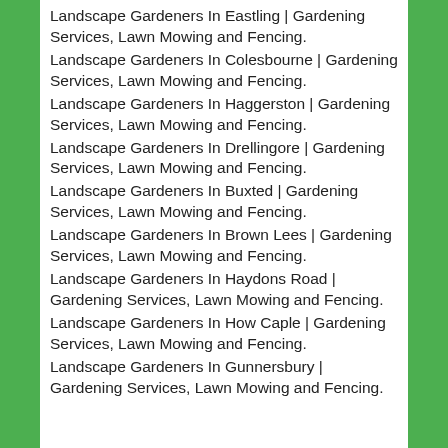Landscape Gardeners In Eastling | Gardening Services, Lawn Mowing and Fencing.
Landscape Gardeners In Colesbourne | Gardening Services, Lawn Mowing and Fencing.
Landscape Gardeners In Haggerston | Gardening Services, Lawn Mowing and Fencing.
Landscape Gardeners In Drellingore | Gardening Services, Lawn Mowing and Fencing.
Landscape Gardeners In Buxted | Gardening Services, Lawn Mowing and Fencing.
Landscape Gardeners In Brown Lees | Gardening Services, Lawn Mowing and Fencing.
Landscape Gardeners In Haydons Road | Gardening Services, Lawn Mowing and Fencing.
Landscape Gardeners In How Caple | Gardening Services, Lawn Mowing and Fencing.
Landscape Gardeners In Gunnersbury | Gardening Services, Lawn Mowing and Fencing.